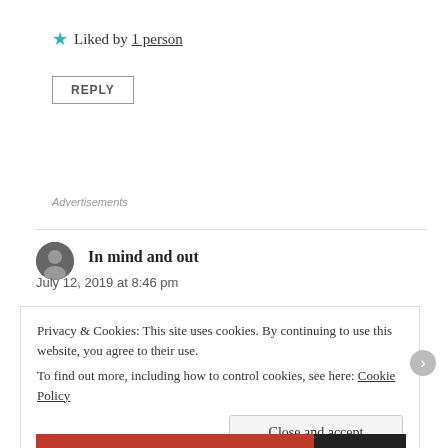★ Liked by 1 person
REPLY
Advertisements
In mind and out
July 12, 2019 at 8:46 pm
Privacy & Cookies: This site uses cookies. By continuing to use this website, you agree to their use.
To find out more, including how to control cookies, see here: Cookie Policy
Close and accept